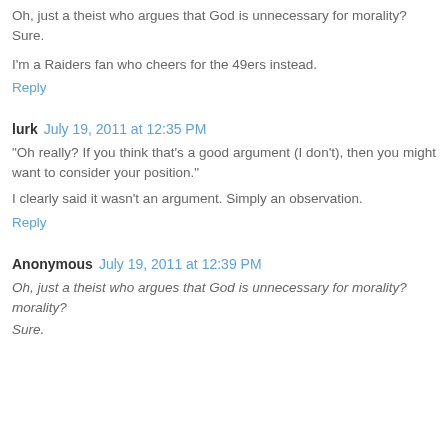Oh, just a theist who argues that God is unnecessary for morality?
Sure.
I'm a Raiders fan who cheers for the 49ers instead.
Reply
lurk  July 19, 2011 at 12:35 PM
"Oh really? If you think that's a good argument (I don't), then you might want to consider your position."
I clearly said it wasn't an argument. Simply an observation.
Reply
Anonymous  July 19, 2011 at 12:39 PM
Oh, just a theist who argues that God is unnecessary for morality?
Sure.